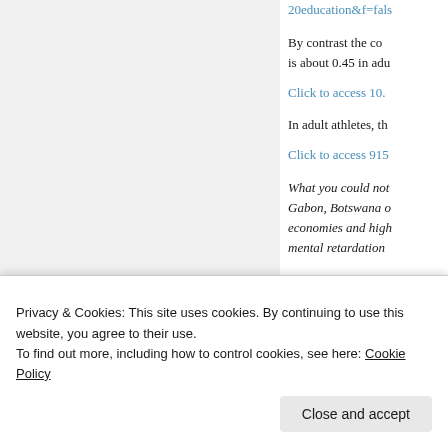20education&f=fals
By contrast the co is about 0.45 in adu
Click to access 10.
In adult athletes, th
Click to access 915
What you could not Gabon, Botswana o economies and high mental retardation
Lynn's data is not r
Privacy & Cookies: This site uses cookies. By continuing to use this website, you agree to their use. To find out more, including how to control cookies, see here: Cookie Policy
Close and accept